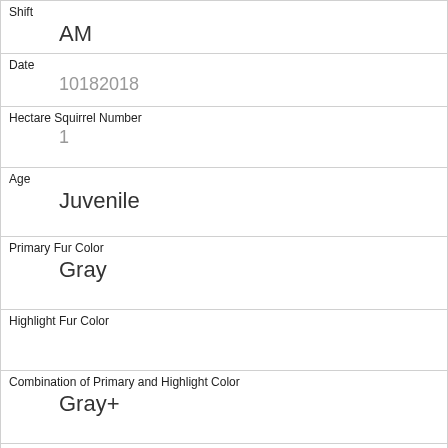| Shift | AM |
| Date | 10182018 |
| Hectare Squirrel Number | 1 |
| Age | Juvenile |
| Primary Fur Color | Gray |
| Highlight Fur Color |  |
| Combination of Primary and Highlight Color | Gray+ |
| Color notes |  |
| Location | Ground Plane |
| Above Ground Sighter Measurement | FALSE |
| Specific Location |  |